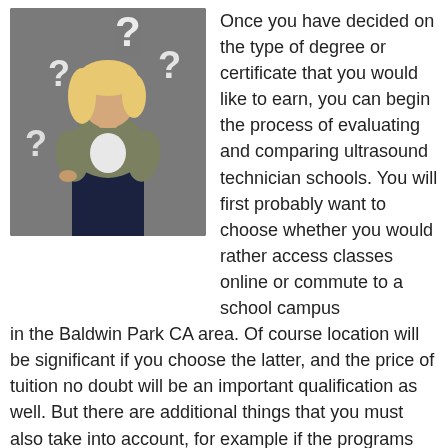[Figure (photo): Woman with blonde hair wearing a grey jacket and dark jeans, standing against a dark grey background with large white question marks scattered around her.]
Once you have decided on the type of degree or certificate that you would like to earn, you can begin the process of evaluating and comparing ultrasound technician schools. You will first probably want to choose whether you would rather access classes online or commute to a school campus in the Baldwin Park CA area. Of course location will be significant if you choose the latter, and the price of tuition no doubt will be an important qualification as well. But there are additional things that you must also take into account, for example if the programs are accredited and if they offer internships. So in order to perform your due diligence so that you can arrive at your final selection, below are several questions that you need ask each sonographer college prior to making a decision.